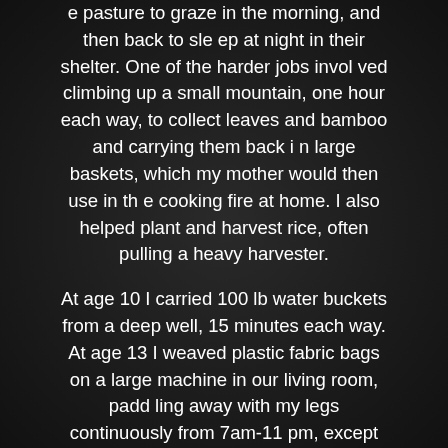e pasture to graze in the morning, and then back to sleep at night in their shelter. One of the harder jobs involved climbing up a small mountain, one hour each way, to collect leaves and bamboo and carrying them back in large baskets, which my mother would then use in the cooking fire at home. I also helped plant and harvest rice, often pulling a heavy harvester.

At age 10 I carried 100 lb water buckets from a deep well, 15 minutes each way. At age 13 I weaved plastic fabric bags on a large machine in our living room, paddling away with my legs continuously from 7am-11 pm, except for short breaks for lunch and dinner. I was self-taught in gymnastics, and would wake up at 5 am and do backflips outside with other children in the village. These early experiences taught me to work hard and do my best always. They also helped build a foundation of lower body strength which has helped me to this day in my bodybuilding career. I had a chance to immigra